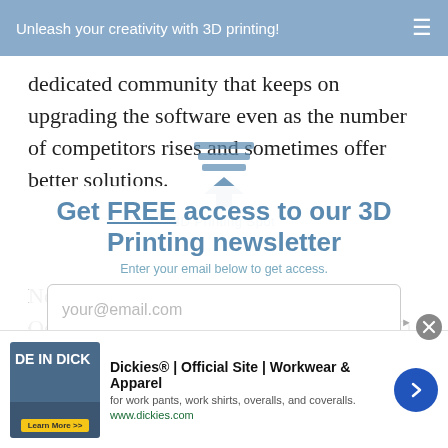Unleash your creativity with 3D printing!
dedicated community that keeps on upgrading the software even as the number of competitors rises and sometimes offer better solutions.
[Figure (logo): 3D Printing Spot watermark icon with downward arrow and text label]
Now, it also offers direct integration with Octoprint, a host software, so that when 3D models are sliced, they can be uploaded to Octoprint and then be sent for 3D printing instantly.
[Figure (infographic): Newsletter signup popup: 'Get FREE access to our 3D Printing newsletter' with email input field 'your@email.com']
[Figure (other): Advertisement: Dickies Official Site Workwear & Apparel. for work pants, work shirts, overalls, and coveralls. www.dickies.com]